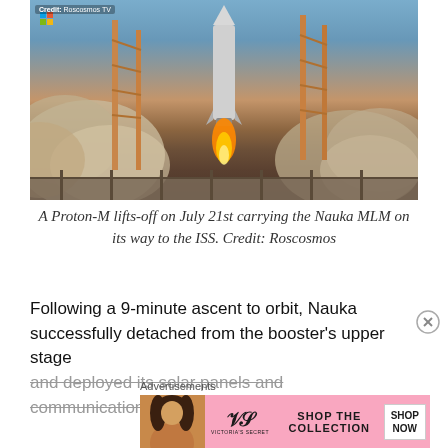[Figure (photo): A Proton-M rocket lifting off from a launch pad with orange launch towers on either side, large smoke clouds billowing at the base, against a twilight sky. Credit overlay reads 'Credit: Roscosmos TV' in top-left corner.]
A Proton-M lifts-off on July 21st carrying the Nauka MLM on its way to the ISS. Credit: Roscosmos
Following a 9-minute ascent to orbit, Nauka successfully detached from the booster's upper stage and deployed its solar panels and communications
Advertisements
[Figure (photo): Victoria's Secret advertisement banner with pink background, model on left, VS logo, text reading 'SHOP THE COLLECTION' and a white 'SHOP NOW' button.]